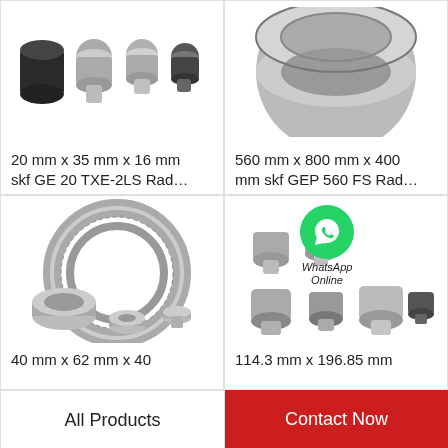[Figure (photo): Multiple small cam follower/stud type track rollers in grey/black metallic finish, top-left product]
20 mm x 35 mm x 16 mm skf GE 20 TXE-2LS Rad…
[Figure (photo): Large cylindrical bearing ring shown from above, silver metallic, top-right product]
560 mm x 800 mm x 400 mm skf GEP 560 FS Rad…
[Figure (photo): Needle roller bearing assembly with rings and cage components, bottom-left product]
40 mm x 62 mm x 40 mm
[Figure (photo): Multiple cam follower/stud type track roller bearings in various sizes, bottom-right product, with WhatsApp Online green circle icon overlay]
114.3 mm x 196.85 mm
All Products | Contact Now